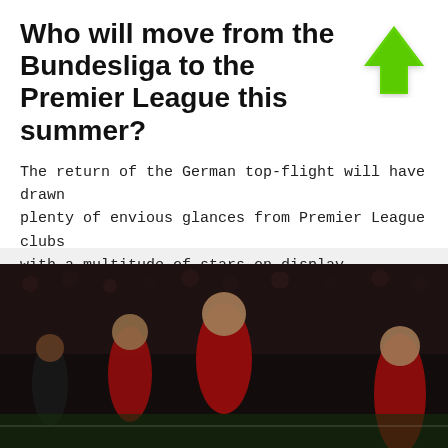Who will move from the Bundesliga to the Premier League this summer?
The return of the German top-flight will have drawn plenty of envious glances from Premier League clubs with a multitude of stars on display
read more >
[Figure (photo): Soccer players in red jerseys celebrating on pitch, crowded stadium in background; advertising banner overlay showing 'Bet €10 Get €50 in Free Bets + €10 Casino Bonus']